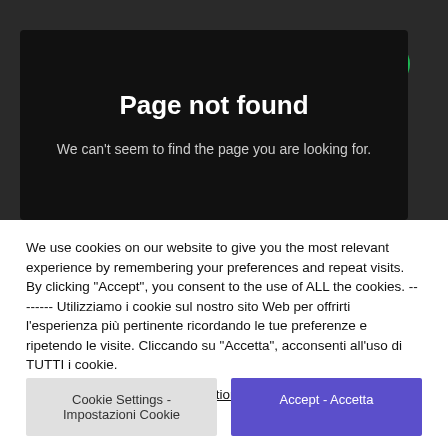[Figure (logo): Spotify circular green logo with white sound wave lines]
Page not found
We can't seem to find the page you are looking for.
We use cookies on our website to give you the most relevant experience by remembering your preferences and repeat visits. By clicking "Accept", you consent to the use of ALL the cookies. -------- Utilizziamo i cookie sul nostro sito Web per offrirti l'esperienza più pertinente ricordando le tue preferenze e ripetendo le visite. Cliccando su "Accetta", acconsenti all'uso di TUTTI i cookie.
Do not sell my personal information.
Cookie Settings - Impostazioni Cookie
Accept - Accetta